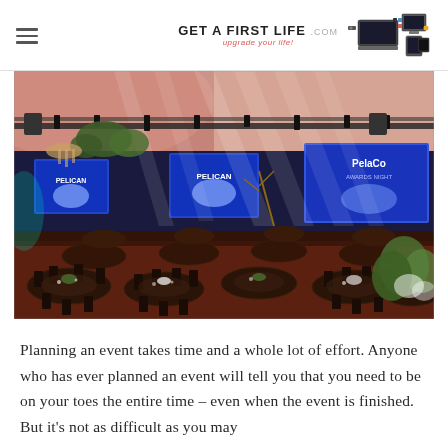GET A FIRST LIFE .com — upgrade your life!
[Figure (photo): Large event hall photo showing a gala dinner setup with round tables, cross-back chairs, blue projection screens on stage, and dramatic stage lighting with pink/purple uplighting on the ceiling.]
Planning an event takes time and a whole lot of effort. Anyone who has ever planned an event will tell you that you need to be on your toes the entire time – even when the event is finished. But it's not as difficult as you may